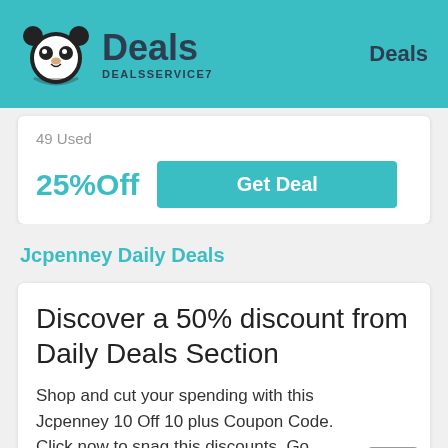Deals DEALSSERVICE7 | Deals
49 Used
25%Off
Get Deal
Jcpenney Daily Deals
Discover a 50% discount from Daily Deals Section
Shop and cut your spending with this Jcpenney 10 Off 10 plus Coupon Code. Click now to snag this discounts. Go shopping now.